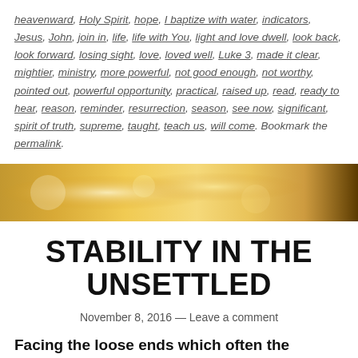heavenward, Holy Spirit, hope, I baptize with water, indicators, Jesus, John, join in, life, life with You, light and love dwell, look back, look forward, losing sight, love, loved well, Luke 3, made it clear, mightier, ministry, more powerful, not good enough, not worthy, pointed out, powerful opportunity, practical, raised up, read, ready to hear, reason, reminder, resurrection, season, see now, significant, spirit of truth, supreme, taught, teach us, will come. Bookmark the permalink.
[Figure (photo): A warm golden bokeh/blurred background banner image with light golden tones, resembling sunlight through foliage]
STABILITY IN THE UNSETTLED
November 8, 2016 — Leave a comment
Facing the loose ends which often the...